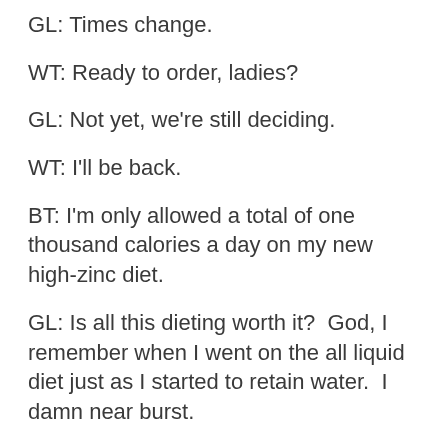GL: Times change.
WT: Ready to order, ladies?
GL: Not yet, we're still deciding.
WT: I'll be back.
BT: I'm only allowed a total of one thousand calories a day on my new high-zinc diet.
GL: Is all this dieting worth it?  God, I remember when I went on the all liquid diet just as I started to retain water.  I damn near burst.
BT: I was thinking liposuction.
GL: Yeah, let some crazed surgeon come at you